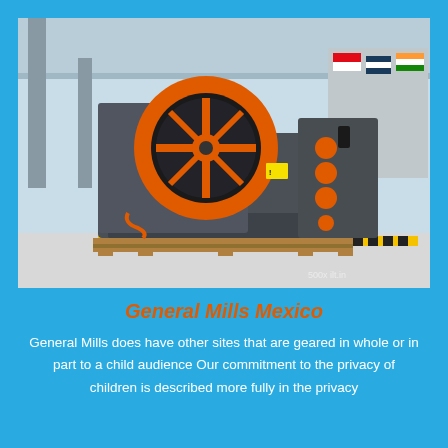[Figure (photo): Large industrial jaw crusher machine with orange flywheel and circular disc on top, dark gray body with orange accent bolts/circles on the right side panel, sitting on wooden pallets inside a factory/exhibition hall with international flags visible in background]
General Mills Mexico
General Mills does have other sites that are geared in whole or in part to a child audience Our commitment to the privacy of children is described more fully in the privacy